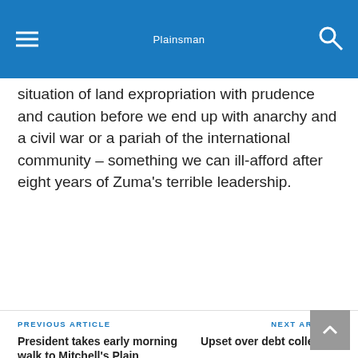Plainsman
situation of land expropriation with prudence and caution before we end up with anarchy and a civil war or a pariah of the international community – something we can ill-afford after eight years of Zuma's terrible leadership.
PREVIOUS ARTICLE
President takes early morning walk to Mitchell's Plain
NEXT ARTICLE
Upset over debt collection
LETTER TO THE EDITOR